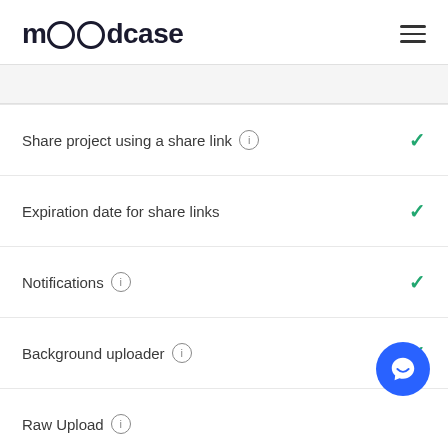moodcase
Share project using a share link ℹ️ ✓
Expiration date for share links ✓
Notifications ℹ️ ✓
Background uploader ℹ️ ✓
Raw Upload ℹ️ ✓
Custom domain ℹ️ ✓